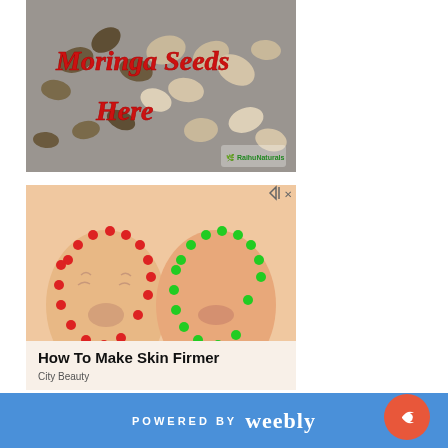[Figure (photo): Photo of moringa seeds with italic red text overlay reading 'Moringa Seeds Here' and a small logo watermark in the bottom right corner.]
[Figure (illustration): Skincare advertisement showing two illustrated female faces side by side — one older with red dots outlining face/neck (before), one younger with green dots (after). Bold text below reads 'How To Make Skin Firmer'. Subtitle: 'City Beauty'. Ad badge icons in top right corner.]
[Figure (photo): Photo of dark glass bottles with pump dispensers against a green leafy background.]
POWERED BY weebly